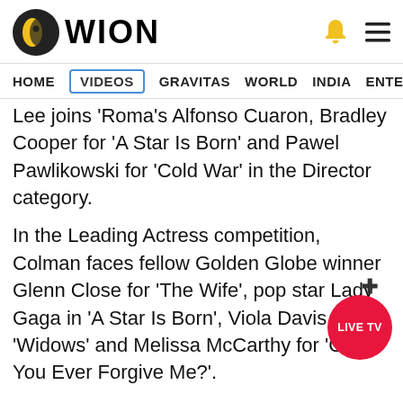WION
HOME | VIDEOS | GRAVITAS | WORLD | INDIA | ENTERTAINMENT | SPORTS
Lee joins 'Roma's Alfonso Cuaron, Bradley Cooper for 'A Star Is Born' and Pawel Pawlikowski for 'Cold War' in the Director category.
In the Leading Actress competition, Colman faces fellow Golden Globe winner Glenn Close for 'The Wife', pop star Lady Gaga in 'A Star Is Born', Viola Davis for 'Widows' and Melissa McCarthy for 'Can You Ever Forgive Me?'.
Christian Bale, who portrays former U.S. Vice President Dick Cheney in 'Vice', Rami Malek,